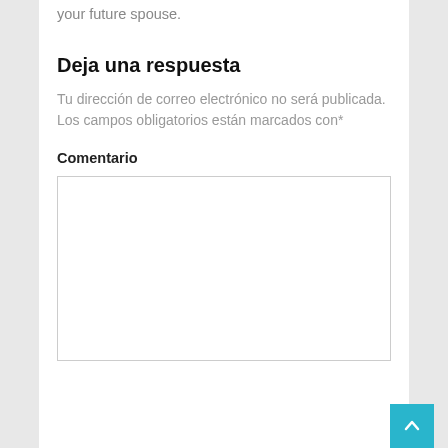your future spouse.
Deja una respuesta
Tu dirección de correo electrónico no será publicada.
Los campos obligatorios están marcados con*
Comentario
[Figure (other): Empty comment text area input box with light gray border]